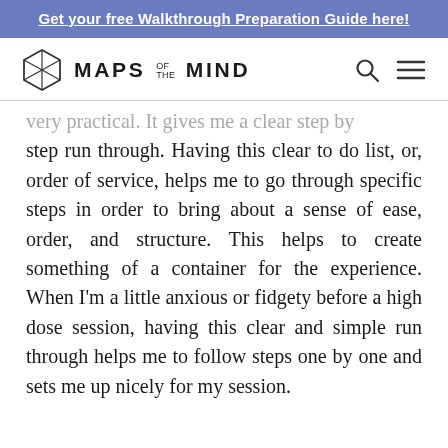Get your free Walkthrough Preparation Guide here!
MAPS OF THE MIND
very practical. It gives me a clear step by step run through. Having this clear to do list, or, order of service, helps me to go through specific steps in order to bring about a sense of ease, order, and structure. This helps to create something of a container for the experience. When I'm a little anxious or fidgety before a high dose session, having this clear and simple run through helps me to follow steps one by one and sets me up nicely for my session.